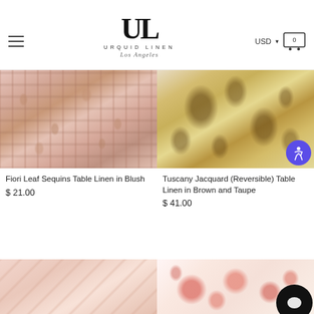Urquid Linen Los Angeles — USD — Cart
[Figure (photo): Fiori Leaf Sequins Table Linen in Blush — close-up of pink/rose gold leaf sequin fabric with draped texture]
Fiori Leaf Sequins Table Linen in Blush
$ 21.00
[Figure (photo): Tuscany Jacquard (Reversible) Table Linen in Brown and Taupe — close-up of cream/gold scrollwork jacquard fabric with swirling vine pattern and accessibility icon badge]
Tuscany Jacquard (Reversible) Table Linen in Brown and Taupe
$ 41.00
[Figure (photo): Bottom left product — blush/pink table linen fabric]
[Figure (photo): Bottom right product — floral print table linen with pink roses on white background, with circular chat button overlay]